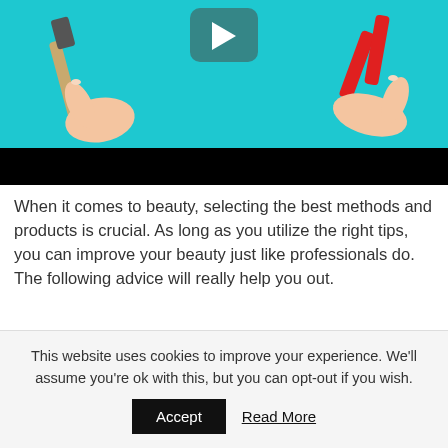[Figure (screenshot): Video thumbnail showing hands with nail tools on a teal/cyan background, with a play button icon and black bar at bottom]
When it comes to beauty, selecting the best methods and products is crucial. As long as you utilize the right tips, you can improve your beauty just like professionals do. The following advice will really help you out.
Nail Polish
This website uses cookies to improve your experience. We'll assume you're ok with this, but you can opt-out if you wish.